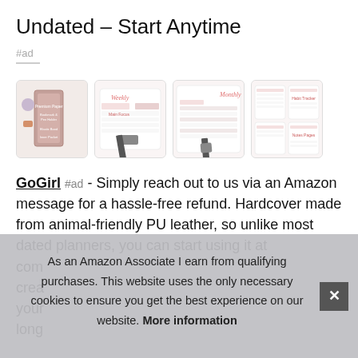Undated – Start Anytime
#ad
[Figure (photo): Four product images of a planner/journal: cover view, weekly spread, monthly spread, and pages overview]
GoGirl #ad - Simply reach out to us via an Amazon message for a hassle-free refund. Hardcover made from animal-friendly PU leather, so unlike most dated planners, you can start using it at any time. Comes with premium paper to create lasting memories and help you plan your days, weeks and months for the long
As an Amazon Associate I earn from qualifying purchases. This website uses the only necessary cookies to ensure you get the best experience on our website. More information